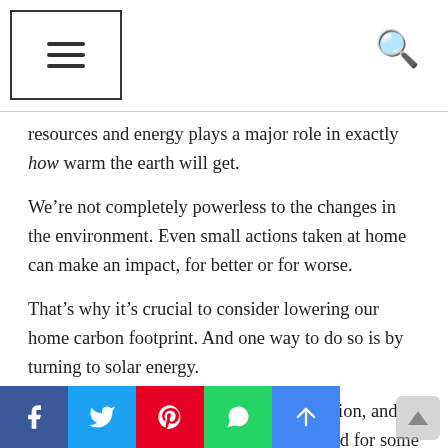[Navigation bar with hamburger menu and search icon]
resources and energy plays a major role in exactly how warm the earth will get.
We’re not completely powerless to the changes in the environment. Even small actions taken at home can make an impact, for better or for worse.
That’s why it’s crucial to consider lowering our home carbon footprint. And one way to do so is by turning to solar energy.
Still, solar power isn’t always the best option, and there are some limitations that make it hard for some to make the change. Read on for the pros and cons of home solar panel installation.